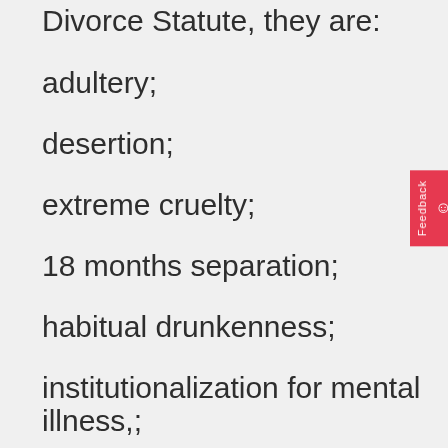Divorce Statute, they are:
adultery;
desertion;
extreme cruelty;
18 months separation;
habitual drunkenness;
institutionalization for mental illness,;
imprisonment;
deviant sexual conduct;
and irreconcilable differences.